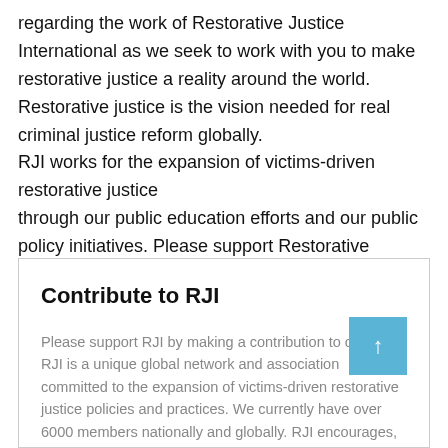regarding the work of Restorative Justice International as we seek to work with you to make restorative justice a reality around the world. Restorative justice is the vision needed for real criminal justice reform globally.
RJI works for the expansion of victims-driven restorative justice
through our public education efforts and our public policy initiatives. Please support Restorative Justice International with a contribution today!
Contribute to RJI
Please support RJI by making a contribution to our work. RJI is a unique global network and association committed to the expansion of victims-driven restorative justice policies and practices. We currently have over 6000 members nationally and globally. RJI encourages, enab and … Continue reading